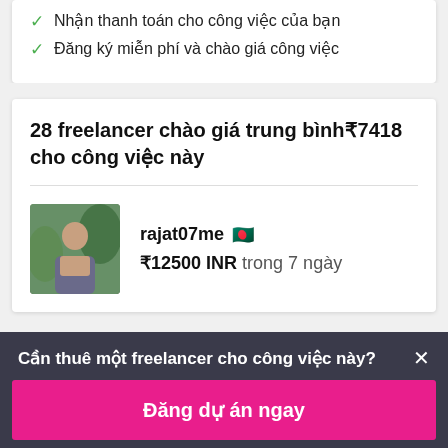Nhận thanh toán cho công việc của bạn
Đăng ký miễn phí và chào giá công việc
28 freelancer chào giá trung bình₹7418 cho công việc này
rajat07me  🇧🇩  ₹12500 INR trong 7 ngày
Cần thuê một freelancer cho công việc này? ×
Đăng dự án ngay